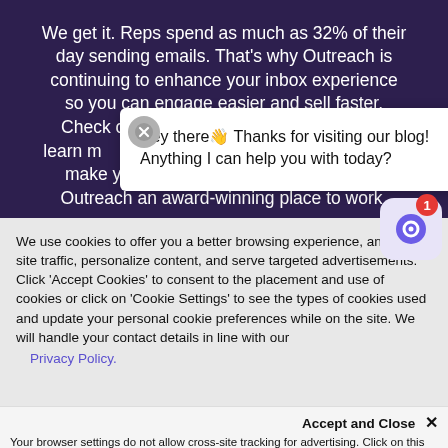We get it. Reps spend as much as 32% of their day sending emails. That's why Outreach is continuing to enhance your inbox experience so you can engage easier and sell faster. Check out our latest Monthly Round-Up to learn more about the features we've added to make your selling experience even better and Outreach an award-winning place to work.
Hey there👋 Thanks for visiting our blog! Anything I can help you with today?
We use cookies to offer you a better browsing experience, analyze site traffic, personalize content, and serve targeted advertisements. Click 'Accept Cookies' to consent to the placement and use of cookies or click on 'Cookie Settings' to see the types of cookies used and update your personal cookie preferences while on the site. We will handle your contact details in line with our
Privacy Policy.
Accept and Close ✕
Your browser settings do not allow cross-site tracking for advertising. Click on this page to allow AdRoll to use cross-site tracking to tailor ads to you. Learn more or opt out of this AdRoll tracking by clicking here. This message only appears once.